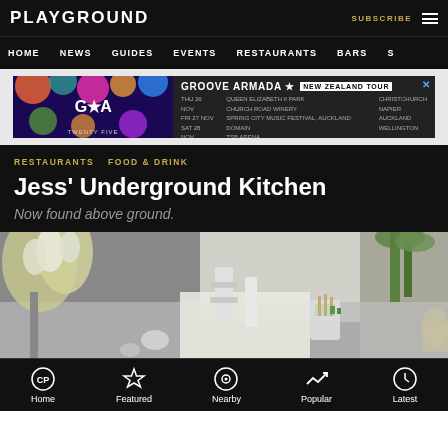PLAYGROUND | SUBSCRIBE | ≡
HOME  NEWS  GUIDES  EVENTS  RESTAURANTS  BARS  S
[Figure (infographic): Groove Armada New Zealand Tour advertisement banner with G*A logo on colourful background and tour date details]
RESTAURANTS  FOOD & DRINK
Jess' Underground Kitchen
Now found above ground.
[Figure (photo): Interior photo of Jess' Underground Kitchen showing white flowers/tulips in vases, white tables, green plants, and kitchen table accessories]
Home  Featured  Nearby  Popular  Latest